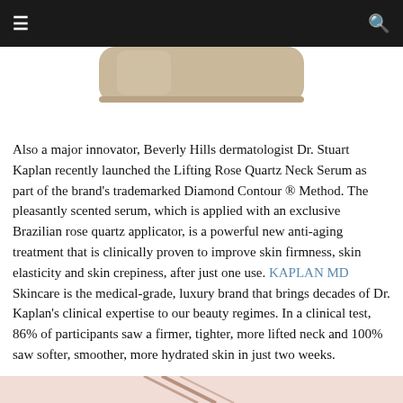≡  🔍
[Figure (photo): Partial view of a product bottle with tan/beige packaging, cropped at top of page]
Also a major innovator, Beverly Hills dermatologist Dr. Stuart Kaplan recently launched the Lifting Rose Quartz Neck Serum as part of the brand's trademarked Diamond Contour ® Method. The pleasantly scented serum, which is applied with an exclusive Brazilian rose quartz applicator, is a powerful new anti-aging treatment that is clinically proven to improve skin firmness, skin elasticity and skin crepiness, after just one use. KAPLAN MD Skincare is the medical-grade, luxury brand that brings decades of Dr. Kaplan's clinical expertise to our beauty regimes. In a clinical test, 86% of participants saw a firmer, tighter, more lifted neck and 100% saw softer, smoother, more hydrated skin in just two weeks.
[Figure (photo): Partial view of a product or image with pink/red tones, cropped at bottom of page]